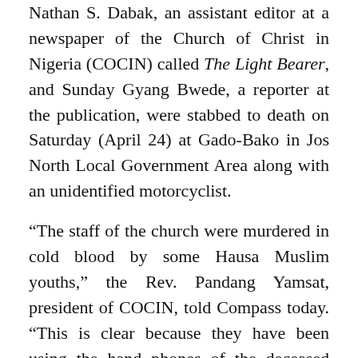Nathan S. Dabak, an assistant editor at a newspaper of the Church of Christ in Nigeria (COCIN) called The Light Bearer, and Sunday Gyang Bwede, a reporter at the publication, were stabbed to death on Saturday (April 24) at Gado-Bako in Jos North Local Government Area along with an unidentified motorcyclist.
“The staff of the church were murdered in cold blood by some Hausa Muslim youths,” the Rev. Pandang Yamsat, president of COCIN, told Compass today. “This is clear because they have been using the hand phones of the deceased journalists and boasting that they are the ones that killed them.”
The young Muslim men have been boldly answering calls to the cell phones of the deceased journalists, he said; when a friend of Dabak called his cell phone number, an